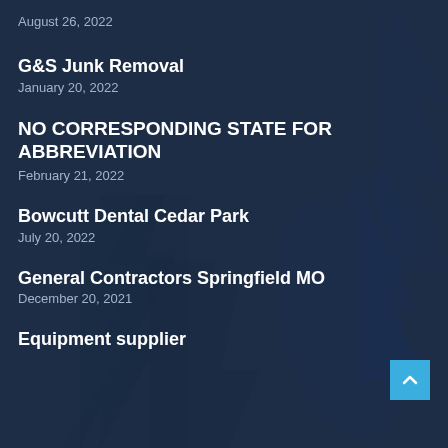August 26, 2022
G&S Junk Removal
January 20, 2022
NO CORRESPONDING STATE FOR ABBREVIATION
February 21, 2022
Bowcutt Dental Cedar Park
July 20, 2022
General Contractors Springfield MO
December 20, 2021
Equipment supplier